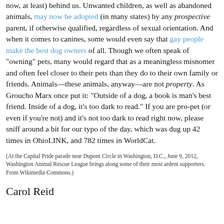now, at least) behind us. Unwanted children, as well as abandoned animals, may now be adopted (in many states) by any prospective parent, if otherwise qualified, regardless of sexual orientation. And when it comes to canines, some would even say that gay people make the best dog owners of all. Though we often speak of "owning" pets, many would regard that as a meaningless misnomer and often feel closer to their pets than they do to their own family or friends. Animals—these animals, anyway—are not property. As Groucho Marx once put it: "Outside of a dog, a book is man's best friend. Inside of a dog, it's too dark to read." If you are pro-pet (or even if you're not) and it's not too dark to read right now, please sniff around a bit for our typo of the day, which was dug up 42 times in OhioLINK, and 782 times in WorldCat.
(At the Capital Pride parade near Dupont Circle in Washington, D.C., June 9, 2012, Washington Animal Rescue League brings along some of their most ardent supporters. From Wikimedia Commons.)
Carol Reid